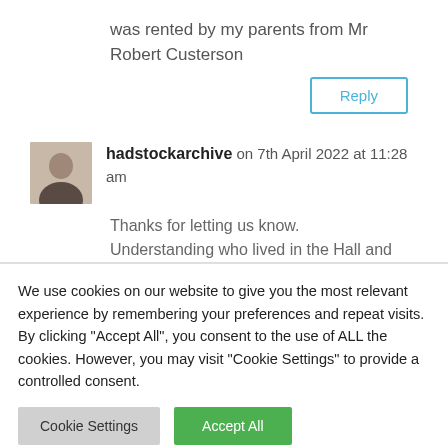was rented by my parents from Mr Robert Custerson
Reply
hadstockarchive on 7th April 2022 at 11:28 am
Thanks for letting us know. Understanding who lived in the Hall and
We use cookies on our website to give you the most relevant experience by remembering your preferences and repeat visits. By clicking "Accept All", you consent to the use of ALL the cookies. However, you may visit "Cookie Settings" to provide a controlled consent.
Cookie Settings
Accept All